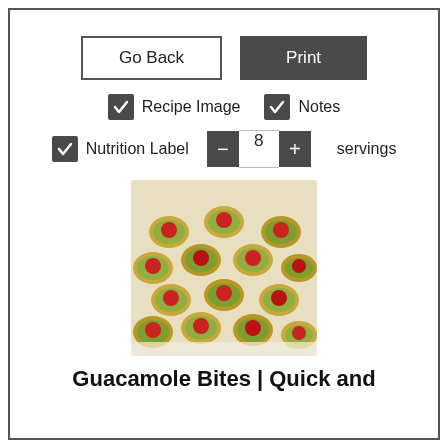Go Back | Print (buttons)
✓ Recipe Image   ✓ Notes
✓ Nutrition Label   − 8 + servings
[Figure (photo): Photo of guacamole bites: small taco shell cups filled with green guacamole and topped with red cherry tomatoes, arranged in rows on a white plate.]
Guacamole Bites | Quick and